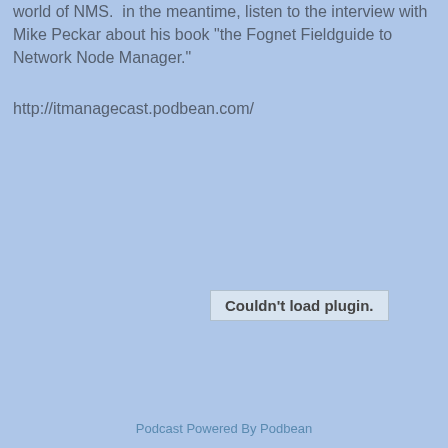world of NMS.  in the meantime, listen to the interview with Mike Peckar about his book "the Fognet Fieldguide to Network Node Manager."
http://itmanagecast.podbean.com/
Couldn't load plugin.
Podcast Powered By Podbean